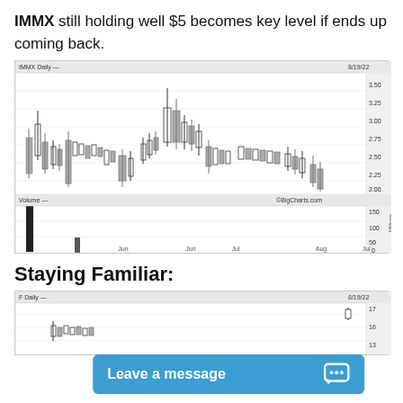IMMX still holding well $5 becomes key level if ends up coming back.
[Figure (continuous-plot): IMMX Daily candlestick chart from approximately June to August 19, 2022. Price range roughly 1.75 to 3.50. Shows candlestick patterns with price on right axis. Below is a volume chart showing bars, with one very tall bar near June. X-axis labels: Jun, Jul, Aug. Y-axis (price): 1.75, 2.00, 2.25, 2.50, 2.75, 3.00, 3.25, 3.50. Volume y-axis: 0, 50, 100, 150. Source: BigCharts.com]
Staying Familiar:
[Figure (continuous-plot): F Daily candlestick chart dated 8/19/22. Price range approximately 13 to 17. Partial chart visible at bottom of page. X-axis partially visible. Right y-axis shows 13, 16(?), 17.]